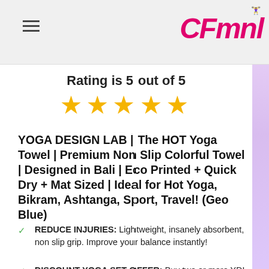CFmnl (logo with hamburger menu)
Rating is 5 out of 5
[Figure (other): Five gold star rating icons]
YOGA DESIGN LAB | The HOT Yoga Towel | Premium Non Slip Colorful Towel | Designed in Bali | Eco Printed + Quick Dry + Mat Sized | Ideal for Hot Yoga, Bikram, Ashtanga, Sport, Travel! (Geo Blue)
REDUCE INJURIES: Lightweight, insanely absorbent, non slip grip. Improve your balance instantly!
DISCOUNT YOGA SET OFFER: Buy two or more YDL products and get 10% or more off your order. Promotion codes are listed below!
ECO FRIENDLY: 100% microfiber made from recycled plastic bottles! Colorful, non fade, patterned